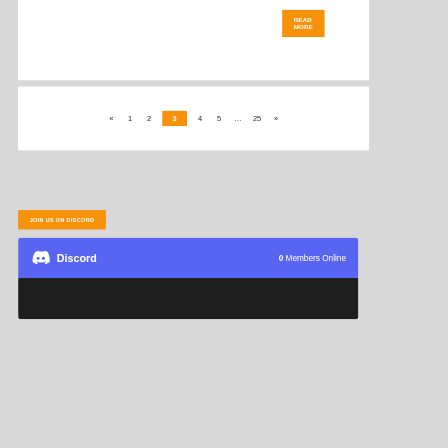READ MORE
« 1 2 3 4 5 ... 25 »
JOIN US ON DISCORD
[Figure (screenshot): Discord widget showing 0 Members Online with Discord logo on a blue background and dark body section]